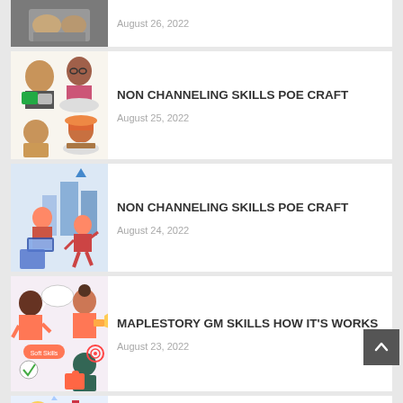[Figure (photo): Partial top card with photo of hands, cut off at top]
NON CHANNELING SKILLS POE CRAFT
August 25, 2022
[Figure (illustration): Cartoon children reading and eating]
NON CHANNELING SKILLS POE CRAFT
August 24, 2022
[Figure (illustration): People working with laptops and running, blue theme]
MAPLESTORY GM SKILLS HOW IT'S WORKS
August 23, 2022
[Figure (illustration): People with soft skills badges and puzzle pieces]
MAPLESTORY GM SKILLS